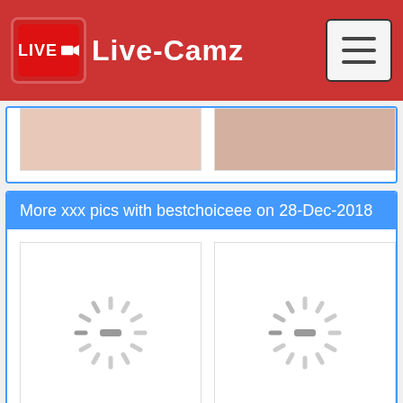Live-Camz
[Figure (photo): Partial view of two image thumbnails (partially cropped at top) in a card with blue border]
More xxx pics with bestchoiceee on 28-Dec-2018
[Figure (photo): Two loading spinner placeholder images in a card with blue border]
More xxx pics with bestchoiceee on 29-Dec-2018
[Figure (photo): One loading spinner placeholder image in a card with blue border (partially visible at bottom)]